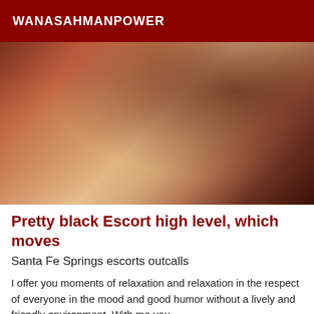WANASAHMANPOWER
[Figure (photo): Indoor room photograph showing a tiled floor, wooden furniture, a dark handbag on the floor, and curtains, with warm amber/brown tones.]
Pretty black Escort high level, which moves
Santa Fe Springs escorts outcalls
I offer you moments of relaxation and relaxation in the respect of everyone in the mood and good humor without a lively and friendly environment. With me you